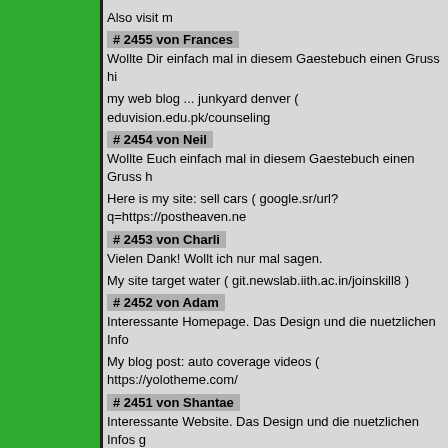Also visit m
# 2455 von Frances
Wollte Dir einfach mal in diesem Gaestebuch einen Gruss hi

my web blog ... junkyard denver ( eduvision.edu.pk/counseling
# 2454 von Neil
Wollte Euch einfach mal in diesem Gaestebuch einen Gruss h

Here is my site: sell cars ( google.sr/url?q=https://postheaven.ne
# 2453 von Charli
Vielen Dank! Wollt ich nur mal sagen.

My site target water ( git.newslab.iith.ac.in/joinskill8 )
# 2452 von Adam
Interessante Homepage. Das Design und die nuetzlichen Info

My blog post: auto coverage videos ( https://yolotheme.com/
# 2451 von Shantae
Interessante Website. Das Design und die nuetzlichen Infos g

Stop by my web site - bmw performance ( maps.google.com/u
# 2450 von Kathlene
Ich wollte einfach einen netten Gruss hinterlassen. Bin eben

Feel free to surf to my blog post - scrap car ( https://myspace
# 2449 von Mahalia
Gute Webpage. Vielen Dank.